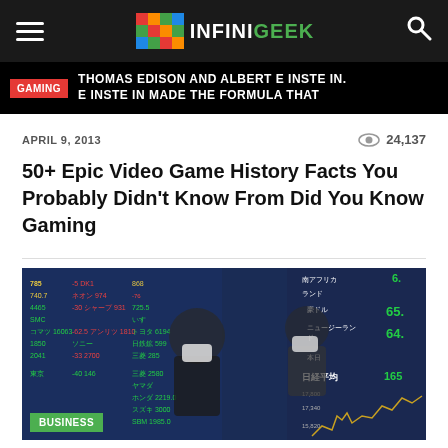INFINIGEEK
[Figure (screenshot): Gaming banner strip showing text: GAMING | THOMAS EDISON AND ALBERT EINSTEIN. EINSTEIN MADE THE FORMULA THAT]
APRIL 9, 2013   👁 24,137
50+ Epic Video Game History Facts You Probably Didn't Know From Did You Know Gaming
[Figure (photo): People wearing face masks walking in front of a large Japanese stock market display board showing various stock prices and numbers in green and yellow. A stock chart is visible on the right side. A green BUSINESS tag is shown at the bottom left.]